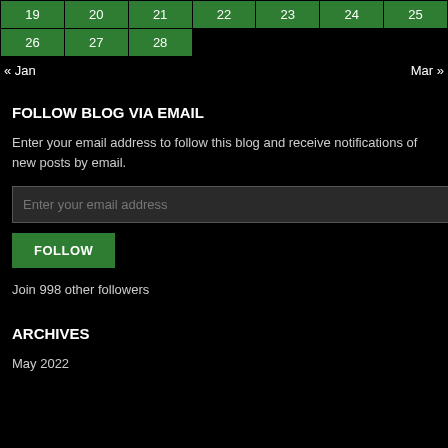| 19 | 20 | 21 | 22 | 23 | 24 | 25 |
| 26 | 27 | 28 |  |  |  |  |
« Jan    Mar »
FOLLOW BLOG VIA EMAIL
Enter your email address to follow this blog and receive notifications of new posts by email.
Enter your email address
FOLLOW
Join 998 other followers
ARCHIVES
May 2022